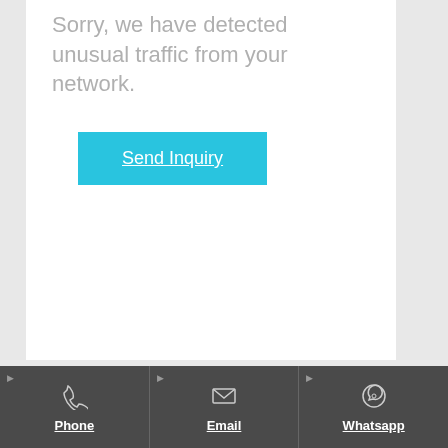Sorry, we have detected unusual traffic from your network.
[Figure (other): Cyan/teal button labeled 'Send Inquiry' with underlined white text]
Phone  Email  Whatsapp